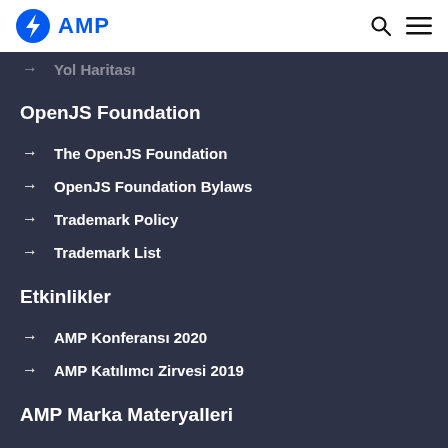AMP
→ Yol Haritası
OpenJS Foundation
→ The OpenJS Foundation
→ OpenJS Foundation Bylaws
→ Trademark Policy
→ Trademark List
Etkinlikler
→ AMP Konferansı 2020
→ AMP Katılımcı Zirvesi 2019
AMP Marka Materyalleri
↓ Stil kılavuzu